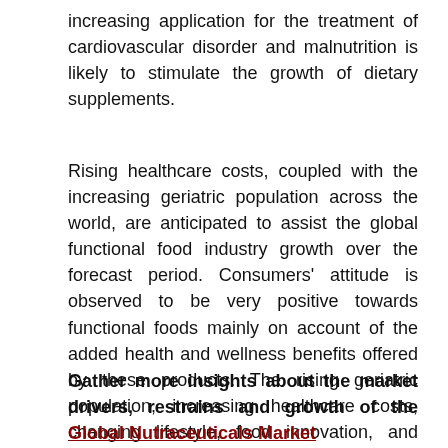increasing application for the treatment of cardiovascular disorder and malnutrition is likely to stimulate the growth of dietary supplements.
Rising healthcare costs, coupled with the increasing geriatric population across the world, are anticipated to assist the global functional food industry growth over the forecast period. Consumers' attitude is observed to be very positive towards functional foods mainly on account of the added health and wellness benefits offered by these products. The rising geriatric population, increasing healthcare costs, changing lifestyle, food innovation, and expectations regarding the higher prices have aided the overall growth.
Gather more insights about the market drivers, restrains and growth of the Global Nutraceuticals Market